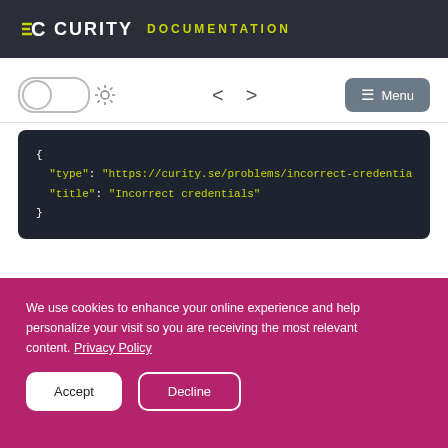CURITY DOCUMENTATION
[Figure (screenshot): Toolbar with dark mode toggle, navigation arrows, and Menu button]
{ "type": "https://curity.se/problems/incorrect-credentia... "title": "Incorrect credentials" }
We use cookies to enhance your online experience and help personalize your visit so you are receiving the most relevant content. Privacy Policy
Accept   Decline